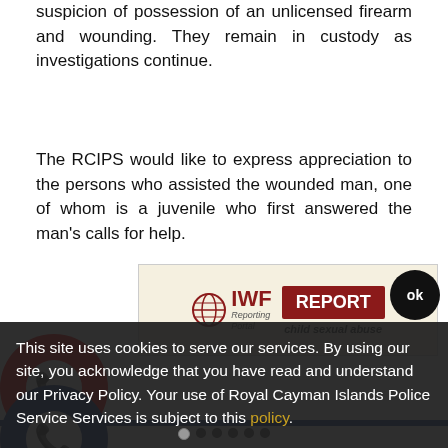suspicion of possession of an unlicensed firearm and wounding. They remain in custody as investigations continue.
The RCIPS would like to express appreciation to the persons who assisted the wounded man, one of whom is a juvenile who first answered the man's calls for help.
[Figure (logo): Red circular phone icon button]
[Figure (logo): Blue circular phone icon button]
[Figure (logo): IWF Reporting Portal with REPORT child sexual abuse button]
This site uses cookies to serve our services. By using our site, you acknowledge that you have read and understand our Privacy Policy. Your use of Royal Cayman Islands Police Service Services is subject to this policy.